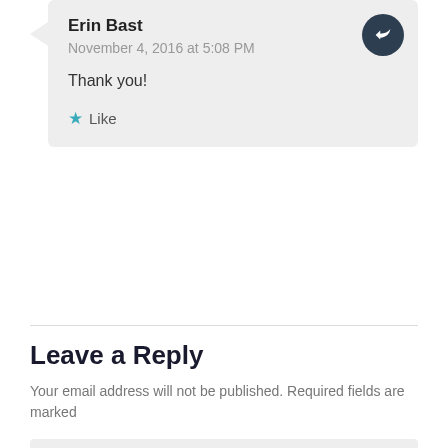Erin Bast
November 4, 2016 at 5:08 PM
Thank you!
Like
Leave a Reply
Your email address will not be published. Required fields are marked